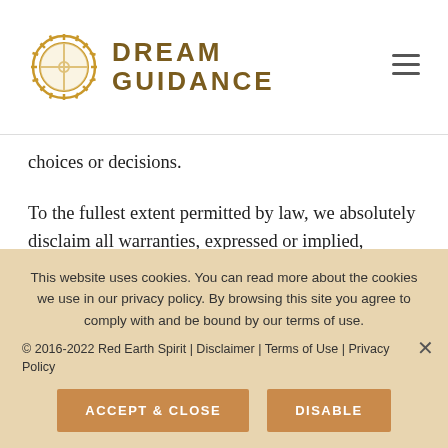[Figure (logo): Dream Guidance logo with golden sun/wheel emblem and brand name in gold serif caps]
choices or decisions.
To the fullest extent permitted by law, we absolutely disclaim all warranties, expressed or implied, including, but not limited to, implied warranties of merchantability and fitness for any particular purpose. We give no warranty that the documents, goods or services will be free of
This website uses cookies. You can read more about the cookies we use in our privacy policy. By browsing this site you agree to comply with and be bound by our terms of use.
© 2016-2022 Red Earth Spirit | Disclaimer | Terms of Use | Privacy Policy